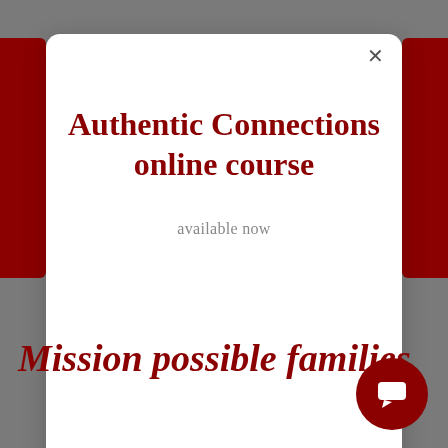[Figure (screenshot): Website popup modal overlay on a gray background with dark red accent bars on left and right sides. Modal contains title 'Authentic Connections online course' and subtitle 'available now'. Background shows script text 'Mission possible families' and a dark red circular chat button in the bottom right.]
Authentic Connections online course
available now
Mission possible families